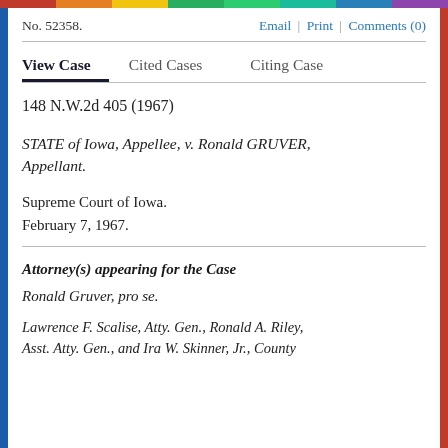No. 52358.   Email | Print | Comments (0)
View Case   Cited Cases   Citing Case
148 N.W.2d 405 (1967)
STATE of Iowa, Appellee, v. Ronald GRUVER, Appellant.
Supreme Court of Iowa.
February 7, 1967.
Attorney(s) appearing for the Case
Ronald Gruver, pro se.
Lawrence F. Scalise, Atty. Gen., Ronald A. Riley, Asst. Atty. Gen., and Ira W. Skinner, Jr., County